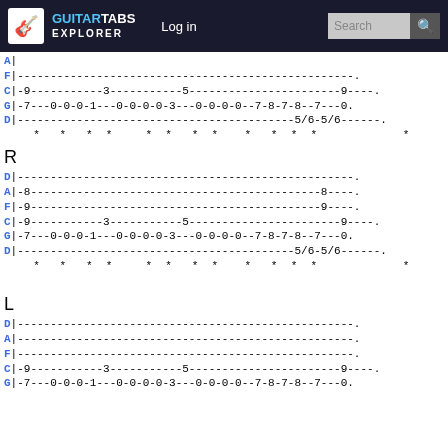GuitarTabs Explorer | Log in | Search
A|
F|------------------------------------------.
C|-9-----------3-----------5-------------------9----.
G|-7---0-0-0-1---0-0-0-0-3---0-0-0-0--7-8-7-8--7---0.
D|-------------------------------------------5/6-5/6------.
* * * *    * * * *    * * * *              *
R
D|------------------------------------------.
A|-8--------------------------------------------8----.
F|-9--------------------------------------------9----.
C|-9-----------3-----------5-------------------9----.
G|-7---0-0-0-1---0-0-0-0-3---0-0-0-0--7-8-7-8--7---0.
D|-------------------------------------------5/6-5/6------.
* * * *    * * * *    * * * *              *
L
D|------------------------------------------.
A|------------------------------------------.
F|------------------------------------------.
C|-9-----------3-----------5-------------------9----.
G|-7---0-0-0-1---0-0-0-0-3---0-0-0-0--7-8-7-8--7---0.